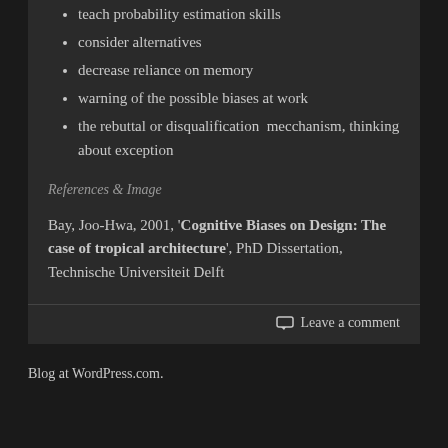teach probability estimation skills
consider alternatives
decrease reliance on memory
warning of the possible biases at work
the rebuttal or disqualification  mecchanism, thinking about exception
References & Image
Bay, Joo-Hwa, 2001, 'Cognitive Biases on Design: The case of tropical architecture', PhD Dissertation, Technische Universiteit Delft
Leave a comment
Blog at WordPress.com.